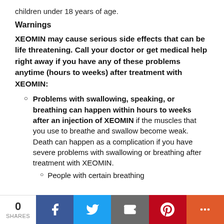children under 18 years of age.
Warnings
XEOMIN may cause serious side effects that can be life threatening. Call your doctor or get medical help right away if you have any of these problems anytime (hours to weeks) after treatment with XEOMIN:
Problems with swallowing, speaking, or breathing can happen within hours to weeks after an injection of XEOMIN if the muscles that you use to breathe and swallow become weak. Death can happen as a complication if you have severe problems with swallowing or breathing after treatment with XEOMIN.
People with certain breathing
0 SHARES | Facebook | Twitter | Email | Pinterest | More